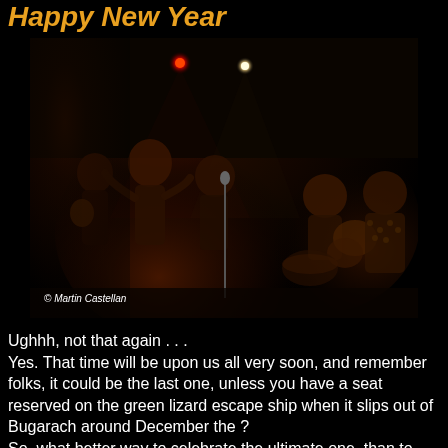Happy New Year
[Figure (photo): A dark concert venue photo showing a band performing on stage with red and white stage lights. Multiple musicians visible as silhouettes in dim reddish lighting. Copyright Martin Castellan.]
© Martin Castellan
Ughhh, not that again . . .
Yes. That time will be upon us all very soon, and remember folks, it could be the last one, unless you have a seat reserved on the green lizard escape ship when it slips out of Bugarach around December the ?
So, what better way to celebrate the ultimate one, than to have Les Malfonctionnaires play for you. Solidly booked up until December 28th . . . er, not quite,  we are looking for a home for New Year's Eve. Les Malfoncs are all house trained, very friendly, and will play until you shake your asses